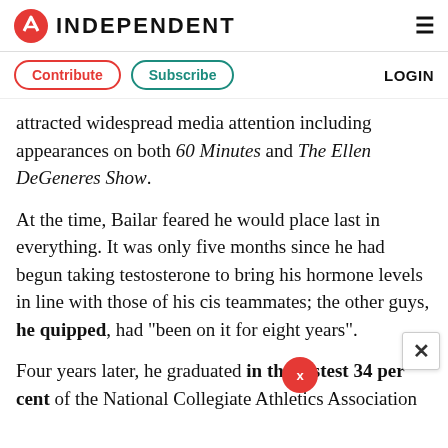INDEPENDENT
Contribute   Subscribe   LOGIN
attracted widespread media attention including appearances on both 60 Minutes and The Ellen DeGeneres Show.
At the time, Bailar feared he would place last in everything. It was only five months since he had begun taking testosterone to bring his hormone levels in line with those of his cis teammates; the other guys, he quipped, had "been on it for eight years".
Four years later, he graduated in the fastest 34 per cent of the National Collegiate Athletics Association